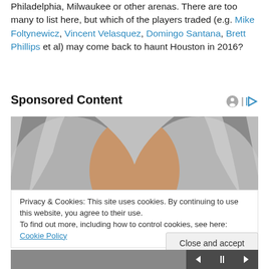Philadelphia, Milwaukee or other arenas. There are too many to list here, but which of the players traded (e.g. Mike Foltynewicz, Vincent Velasquez, Domingo Santana, Brett Phillips et al) may come back to haunt Houston in 2016?
Sponsored Content
[Figure (photo): Close-up photo of a woman with grey/silver hair, showing forehead and eyes, grey background]
Privacy & Cookies: This site uses cookies. By continuing to use this website, you agree to their use.
To find out more, including how to control cookies, see here: Cookie Policy
Close and accept